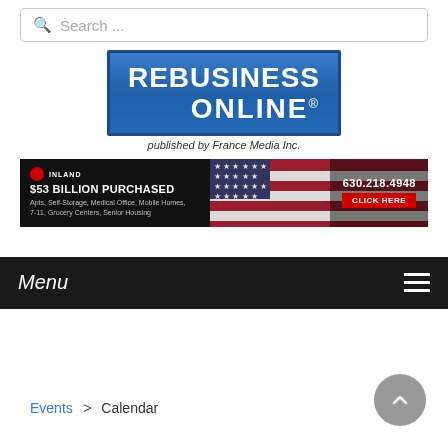Search ...
[Figure (logo): REBusiness Online logo published by France Media Inc.]
[Figure (infographic): Inland banner ad: $53 BILLION PURCHASED — Apts, Self-Storage, Medical Office, Mobile Homes, 7-11, Grocery Centers, Senior Housing — 630.218.4948 — CLICK HERE]
Menu
Events > Calendar